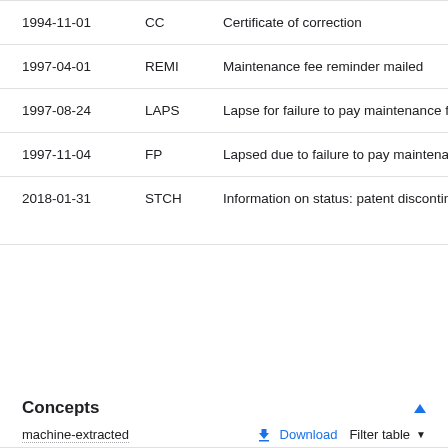| Date | Code | Event |
| --- | --- | --- |
| 1994-11-01 | CC | Certificate of correction |
| 1997-04-01 | REMI | Maintenance fee reminder mailed |
| 1997-08-24 | LAPS | Lapse for failure to pay maintenance fees |
| 1997-11-04 | FP | Lapsed due to failure to pay maintenance fees |
| 2018-01-31 | STCH | Information on status: patent discontinuation |
Concepts
machine-extracted
Download   Filter table